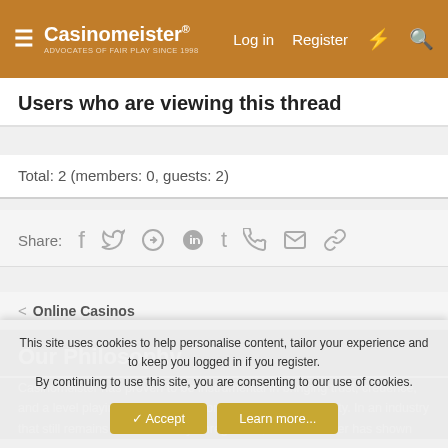Casinomeister® — Log in | Register
Users who are viewing this thread
Total: 2 (members: 0, guests: 2)
Share:
< Online Casinos
Our Philosophy
Casinomeister has proven to be instrumental in bringing trust, credence, and a level playing ground for the online gaming community. In an industry that still remains to be relatively unregulated, Casinomeister has shown
This site uses cookies to help personalise content, tailor your experience and to keep you logged in if you register.
By continuing to use this site, you are consenting to our use of cookies.